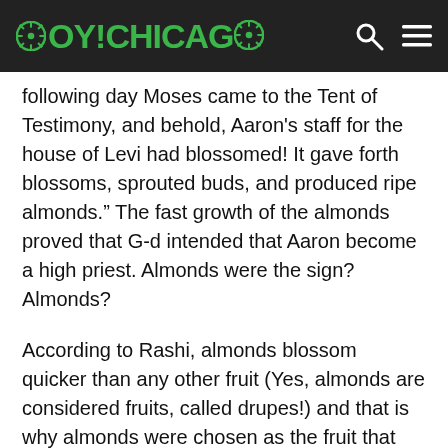OY!CHICAGO
following day Moses came to the Tent of Testimony, and behold, Aaron's staff for the house of Levi had blossomed! It gave forth blossoms, sprouted buds, and produced ripe almonds.” The fast growth of the almonds proved that G-d intended that Aaron become a high priest. Almonds were the sign? Almonds?
According to Rashi, almonds blossom quicker than any other fruit (Yes, almonds are considered fruits, called drupes!) and that is why almonds were chosen as the fruit that connected Aaron to G-d. I have a different take on it, however. Maybe almonds were chosen because they’re packed with vitamins and nutrients, and that the almond itself was the miracle, rather than